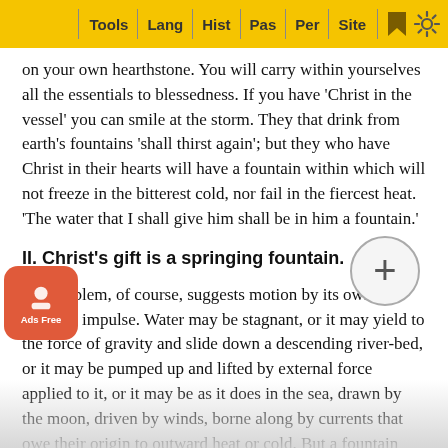Tools | Lang | Hist | Pas | Per | Site
on your own hearthstone. You will carry within yourselves all the essentials to blessedness. If you have ‘Christ in the vessel’ you can smile at the storm. They that drink from earth’s fountains ‘shall thirst again’; but they who have Christ in their hearts will have a fountain within which will not freeze in the bitterest cold, nor fail in the fiercest heat. ‘The water that I shall give him shall be in him a fountain.’
II. Christ’s gift is a springing fountain.
The emblem, of course, suggests motion by its own inherent impulse. Water may be stagnant, or it may yield to the force of gravity and slide down a descending river-bed, or it may be pumped up and lifted by external force applied to it, or it may as it does in the sea, drawn by the moon, driven by winds, borne along by currents that owe their origin to outward heat or cold. But a fountain rises by an energy implanted in itself, spontaneous, self-originating, free, s…